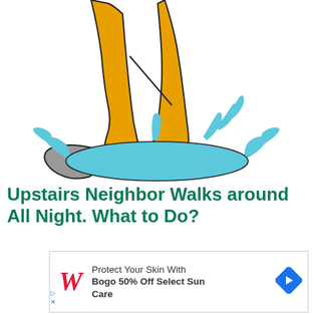[Figure (illustration): Cartoon illustration of legs wearing yellow rain trousers and grey rubber boots, splashing into a blue puddle of water. One foot is lifted and the other is stepping into the splash.]
Upstairs Neighbor Walks around All Night. What to Do?
[Figure (other): Advertisement banner for Walgreens: 'Protect Your Skin With Bogo 50% Off Select Sun Care' with Walgreens script W logo and a blue diamond arrow icon.]